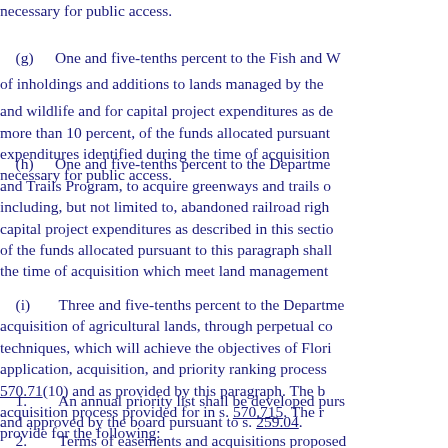necessary for public access.
(g)    One and five-tenths percent to the Fish and Wildlife Foundation of inholdings and additions to lands managed by the division of fish and wildlife and for capital project expenditures as described in this section, not more than 10 percent, of the funds allocated pursuant to this paragraph. Capital expenditures identified during the time of acquisition which meet land management standards necessary for public access.
(h)    One and five-tenths percent to the Department of Environmental Protection Greenways and Trails Program, to acquire greenways and trails or interests therein, including, but not limited to, abandoned railroad rights-of-way, and for capital project expenditures as described in this section, not more than 10 percent of the funds allocated pursuant to this paragraph shall be used. Capital expenditures identified during the time of acquisition which meet land management standards.
(i)    Three and five-tenths percent to the Department of Agriculture for acquisition of agricultural lands, through perpetual conservation easements or other techniques, which will achieve the objectives of Florida Forever using the same application, acquisition, and priority ranking process provided pursuant to s. 570.71(10) and as provided by this paragraph. The board shall use the same acquisition process provided for in s. 570.715. The rules adopted shall provide for the following:
1.    An annual priority list shall be developed pursuant to this paragraph and approved by the board pursuant to s. 259.04.
2.    Terms of easements and acquisitions proposed.